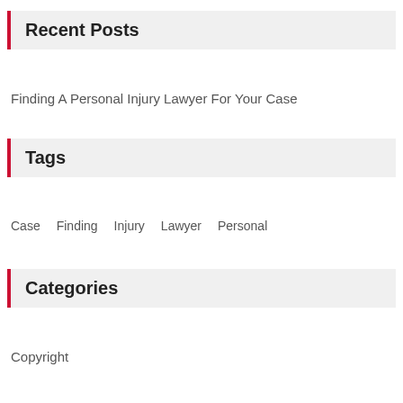Recent Posts
Finding A Personal Injury Lawyer For Your Case
Tags
Case   Finding   Injury   Lawyer   Personal
Categories
Copyright